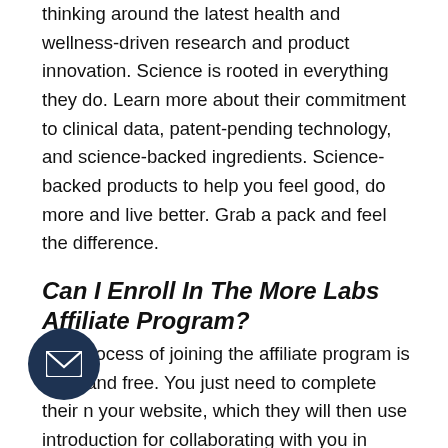thinking around the latest health and wellness-driven research and product innovation. Science is rooted in everything they do. Learn more about their commitment to clinical data, patent-pending technology, and science-backed ingredients. Science-backed products to help you feel good, do more and live better. Grab a pack and feel the difference.
Can I Enroll In The More Labs Affiliate Program?
The process of joining the affiliate program is easy and free. You just need to complete their n your website, which they will then use introduction for collaborating with you in order to start earning money through
[Figure (other): Dark navy circular email/contact button with envelope icon in lower left of page]